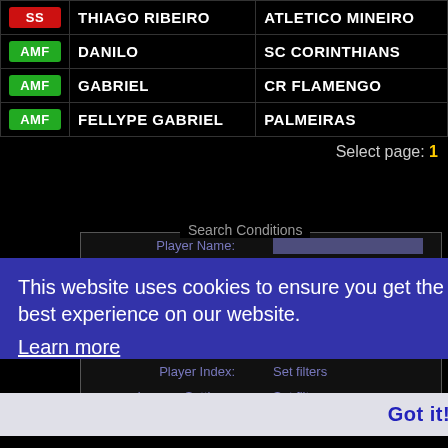| Position | Name | Club |
| --- | --- | --- |
| SS | THIAGO RIBEIRO | ATLETICO MINEIRO |
| AMF | DANILO | SC CORINTHIANS |
| AMF | GABRIEL | CR FLAMENGO |
| AMF | FELLYPE GABRIEL | PALMEIRAS |
Select page: 1
Search Conditions
Player Name:
Game Mode: My Club
Basic Settings: Set filters
Position Settings: Set filters
Ability settings: Set filters
Player Index: Set filters
League Settings: Set filters
This website uses cookies to ensure you get the best experience on our website. Learn more
Got it!